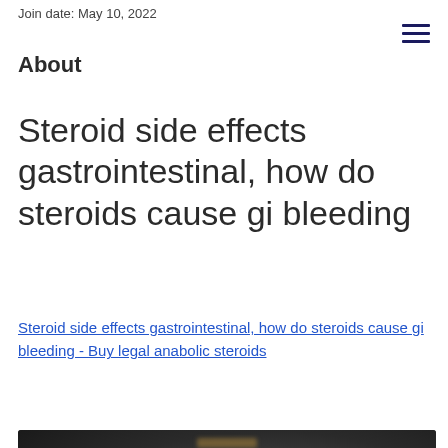Join date: May 10, 2022
About
Steroid side effects gastrointestinal, how do steroids cause gi bleeding
Steroid side effects gastrointestinal, how do steroids cause gi bleeding - Buy legal anabolic steroids
[Figure (photo): Blurred dark image, likely related to steroids or medical content]